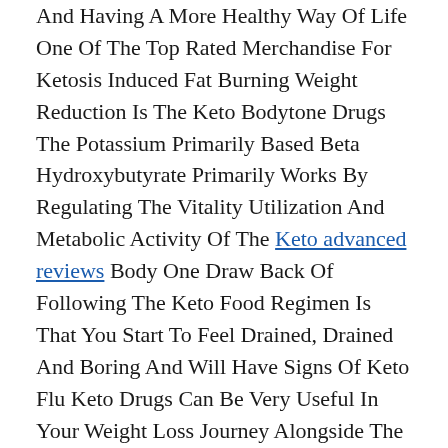And Having A More Healthy Way Of Life One Of The Top Rated Merchandise For Ketosis Induced Fat Burning Weight Reduction Is The Keto Bodytone Drugs The Potassium Primarily Based Beta Hydroxybutyrate Primarily Works By Regulating The Vitality Utilization And Metabolic Activity Of The Keto advanced reviews Body One Draw Back Of Following The Keto Food Regimen Is That You Start To Feel Drained, Drained And Boring And Will Have Signs Of Keto Flu Keto Drugs Can Be Very Useful In Your Weight Loss Journey Alongside The Ketogenic Diet.
Because Most Folks Live On A Excessive Carb Food Plan, Our Bodies Usually Run On Glucose For Energy We Can T Make Glucose And Only Have About 24 Hours Value Stored In Our Muscle Tissue And How long should i do the keto diet Liver Once Glucose Is Not Out There From